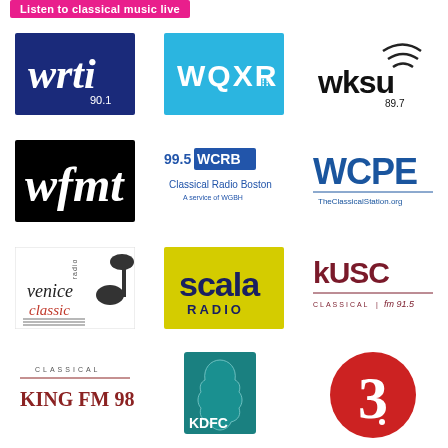Listen to classical music live
[Figure (logo): WRTI 90.1 radio station logo — white italic text on dark blue background]
[Figure (logo): WQXR radio station logo — white text on cyan/sky-blue background]
[Figure (logo): WKSU 89.7 radio station logo — black text with radio wave graphic]
[Figure (logo): WFMT radio station logo — white italic text on black background]
[Figure (logo): 99.5 WCRB Classical Radio Boston — A service of WGBH logo]
[Figure (logo): WCPE TheClassicalStation.org logo — blue text]
[Figure (logo): Venice Classic Radio logo — decorative text with music note silhouette]
[Figure (logo): Scala Radio logo — dark blue bold text on yellow/green background]
[Figure (logo): KUSC Classical fm 91.5 logo — dark red text]
[Figure (logo): Classical KING FM 98.1 radio station logo — dark red serif text]
[Figure (logo): KDFC radio station logo — teal/dark cyan square with violin graphic]
[Figure (logo): BBC Radio 3 logo — white number 3 on red circle]